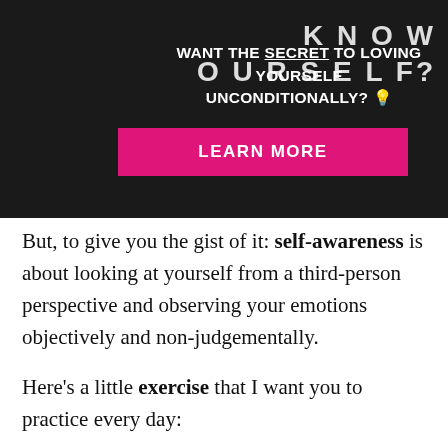[Figure (other): Dark banner with promotional text 'WANT THE SECRET TO LOVING YOURSELF UNCONDITIONALLY?' with a pink 'LEARN MORE' button and partial 'KNOW YOURSELF?' text on the right side]
But, to give you the gist of it: self-awareness is about looking at yourself from a third-person perspective and observing your emotions objectively and non-judgementally.
Here's a little exercise that I want you to practice every day:
Every time you notice a change in your body (a feeling of expansion, joy, love, a build-up of fear or anger), try to name it. It's important NOT to